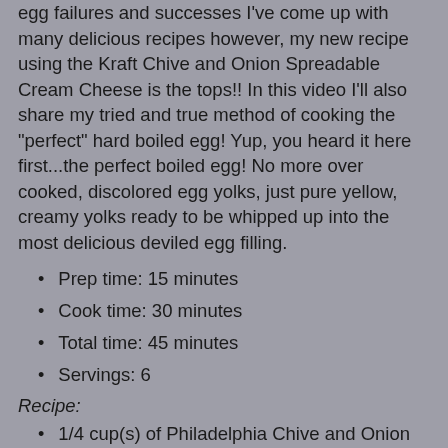egg failures and successes I've come up with many delicious recipes however, my new recipe using the Kraft Chive and Onion Spreadable Cream Cheese is the tops!! In this video I'll also share my tried and true method of cooking the "perfect" hard boiled egg! Yup, you heard it here first...the perfect boiled egg! No more over cooked, discolored egg yolks, just pure yellow, creamy yolks ready to be whipped up into the most delicious deviled egg filling.
Prep time: 15 minutes
Cook time: 30 minutes
Total time: 45 minutes
Servings: 6
Recipe:
1/4 cup(s) of Philadelphia Chive and Onion spreadable cream cheese